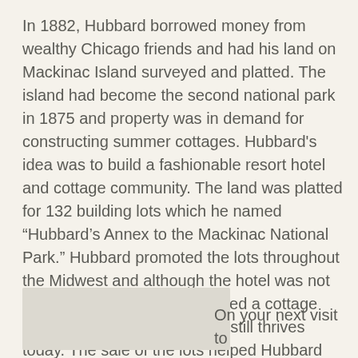In 1882, Hubbard borrowed money from wealthy Chicago friends and had his land on Mackinac Island surveyed and platted. The island had become the second national park in 1875 and property was in demand for constructing summer cottages. Hubbard's idea was to build a fashionable resort hotel and cottage community. The land was platted for 132 building lots which he named “Hubbard’s Annex to the Mackinac National Park.” Hubbard promoted the lots throughout the Midwest and although the hotel was not built, he successfully developed a cottage community on the island that still thrives today. The sale of the lots helped Hubbard rebuild his fortune, most of which went to his family, as he passed away in 1884.
[Figure (other): Partial image placeholder visible at bottom left of page]
On your next visit to